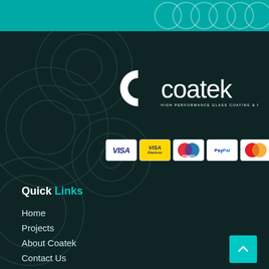[Figure (logo): Teal header bar with partial circular decorative elements at top]
[Figure (logo): Coatek logo - white C lettermark and 'coatek' wordmark with tagline 'HIGH PERFORMANCE GLASS COATING & FILM']
[Figure (infographic): Payment method icons: VISA, VISA Electron, Maestro, PayPal, MasterCard]
Quick Links
Home
Projects
About Coatek
Contact Us
Residential
Shop
News